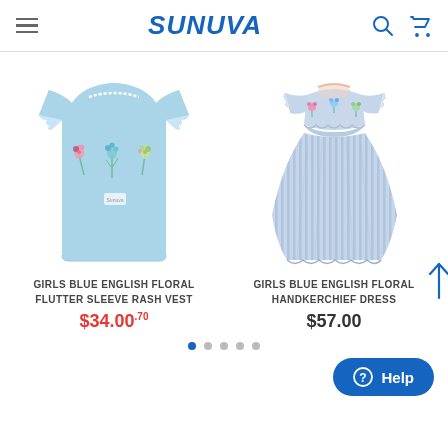SUNUVA
[Figure (photo): Girls blue light blue flutter sleeve rash vest t-shirt with floral embroidery on front]
[Figure (photo): Girls blue English floral handkerchief dress, light blue/lavender striped fabric with floral embroidery at neckline]
GIRLS BLUE ENGLISH FLORAL FLUTTER SLEEVE RASH VEST
$34.00.70
GIRLS BLUE ENGLISH FLORAL HANDKERCHIEF DRESS
$57.00